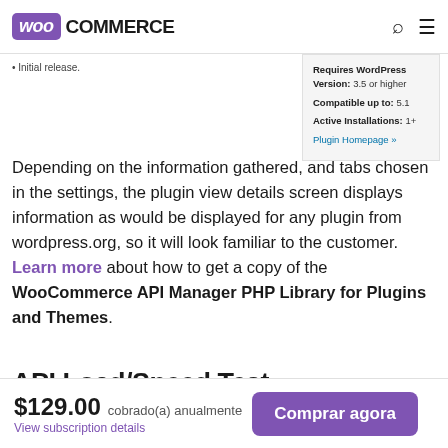WooCommerce
* Initial release.
| Property | Value |
| --- | --- |
| Requires WordPress Version: | 3.5 or higher |
| Compatible up to: | 5.1 |
| Active Installations: | 1+ |
| Plugin Homepage | » |
Depending on the information gathered, and tabs chosen in the settings, the plugin view details screen displays information as would be displayed for any plugin from wordpress.org, so it will look familiar to the customer. Learn more about how to get a copy of the WooCommerce API Manager PHP Library for Plugins and Themes.
API Load/Speed Test
$129.00 cobrado(a) anualmente
View subscription details
Comprar agora